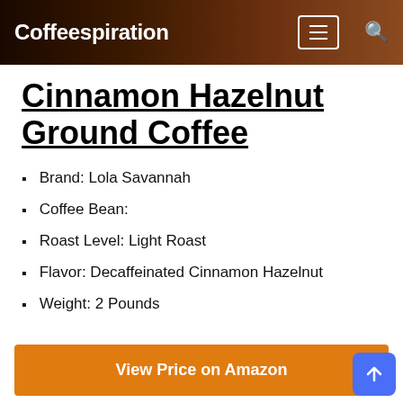Coffeespiration
Cinnamon Hazelnut Ground Coffee
Brand: Lola Savannah
Coffee Bean:
Roast Level: Light Roast
Flavor: Decaffeinated Cinnamon Hazelnut
Weight: 2 Pounds
View Price on Amazon